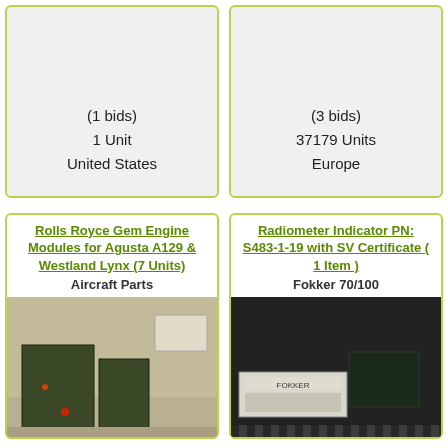[Figure (photo): Top-left listing card: light gray empty photo area showing (1 bids), 1 Unit, United States]
(1 bids)
1 Unit
United States
[Figure (photo): Top-right listing card: light gray empty photo area showing (3 bids), 37179 Units, Europe]
(3 bids)
37179 Units
Europe
Rolls Royce Gem Engine Modules for Agusta A129 & Westland Lynx (7 Units)
Aircraft Parts
[Figure (photo): Photo of dark green engine modules/boxes on a warehouse floor with paper document visible]
Radiometer Indicator PN: S483-1-19 with SV Certificate ( 1 Item )
Fokker 70/100
[Figure (photo): Photo of a dark instrument panel/radiometer indicator with label and striped elements]